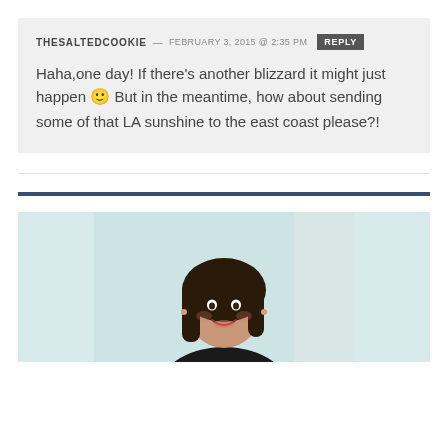THESALTEDCOOKIE — FEBRUARY 3, 2015 @ 2:35 PM [REPLY] Haha,one day! If there's another blizzard it might just happen 🙂 But in the meantime, how about sending some of that LA sunshine to the east coast please?!
[Figure (photo): A smiling woman with dark hair, photographed from the shoulders up against a light teal/pale blue background.]